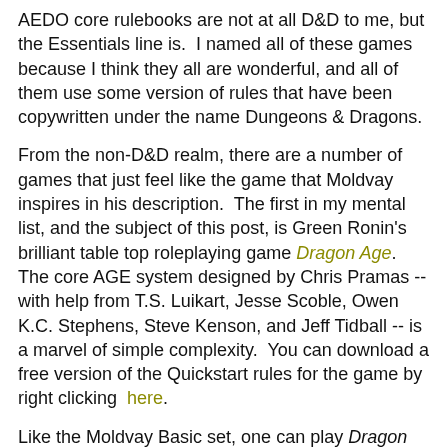AEDO core rulebooks are not at all D&D to me, but the Essentials line is.  I named all of these games because I think they all are wonderful, and all of them use some version of rules that have been copywritten under the name Dungeons & Dragons.
From the non-D&D realm, there are a number of games that just feel like the game that Moldvay inspires in his description.  The first in my mental list, and the subject of this post, is Green Ronin's brilliant table top roleplaying game Dragon Age.  The core AGE system designed by Chris Pramas -- with help from T.S. Luikart, Jesse Scoble, Owen K.C. Stephens, Steve Kenson, and Jeff Tidball -- is a marvel of simple complexity.  You can download a free version of the Quickstart rules for the game by right clicking  here.
Like the Moldvay Basic set, one can play Dragon Age battles as tactical miniatures struggles or throw out maps entirely and use common sense to determine outcomes.  The game includes random chance in the creation of characters, characters that mechanically fall into strict archetypes, and has clear and concise rules presentation.  That last part is